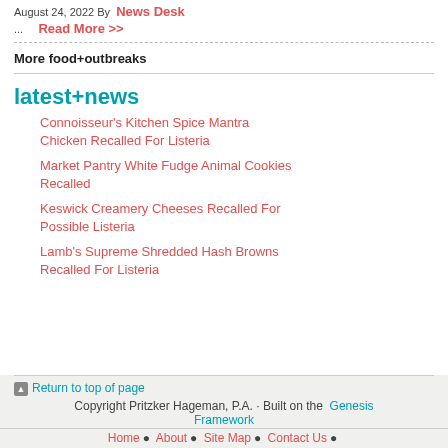August 24, 2022 By News Desk
... Read More >>
More food+outbreaks
latest+news
Connoisseur's Kitchen Spice Mantra Chicken Recalled For Listeria
Market Pantry White Fudge Animal Cookies Recalled
Keswick Creamery Cheeses Recalled For Possible Listeria
Lamb's Supreme Shredded Hash Browns Recalled For Listeria
Return to top of page | Copyright Pritzker Hageman, P.A. · Built on the Genesis Framework | Home · About · Site Map · Contact Us